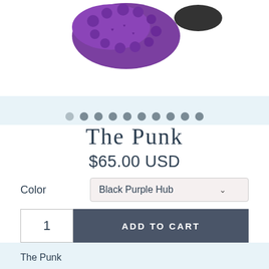[Figure (photo): Purple spiked toy product photo on white background, partially cropped at top]
[Figure (other): Row of 10 navigation dots for image carousel, varying shades of gray]
The Punk
$65.00 USD
Color   Black Purple Hub
1   ADD TO CART
The Punk